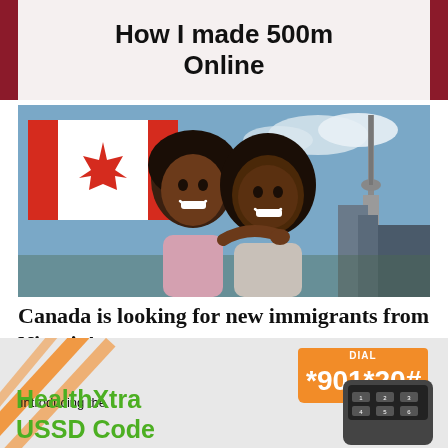How I made 500m Online
[Figure (photo): A smiling couple (man and woman) embracing in front of a Canadian flag and CN Tower in Toronto]
Canada is looking for new immigrants from Nigeria!
[Figure (infographic): HealthXtra USSD Code advertisement with orange diagonal stripes, phone keypad, and dial code *901*20#. Text: Introducing the HealthXtra USSD Code. DIAL *901*20#]